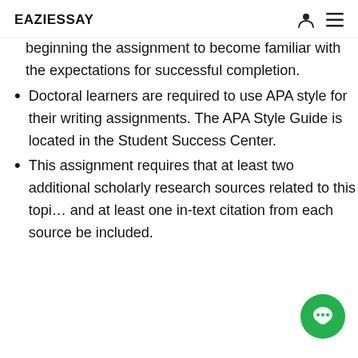EAZIESSAY
beginning the assignment to become familiar with the expectations for successful completion.
Doctoral learners are required to use APA style for their writing assignments. The APA Style Guide is located in the Student Success Center.
This assignment requires that at least two additional scholarly research sources related to this topic and at least one in-text citation from each source be included.